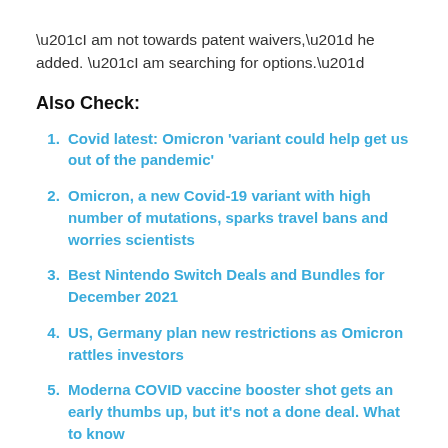“I am not towards patent waivers,” he added. “I am searching for options.”
Also Check:
Covid latest: Omicron ‘variant could help get us out of the pandemic’
Omicron, a new Covid-19 variant with high number of mutations, sparks travel bans and worries scientists
Best Nintendo Switch Deals and Bundles for December 2021
US, Germany plan new restrictions as Omicron rattles investors
Moderna COVID vaccine booster shot gets an early thumbs up, but it’s not a done deal. What to know